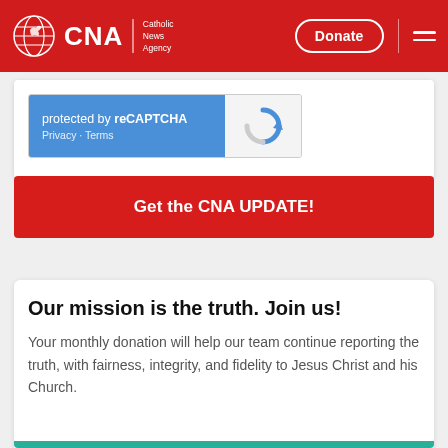CNA Catholic News Agency — Donate [nav header]
[Figure (screenshot): reCAPTCHA widget with blue left panel showing 'protected by reCAPTCHA' and 'Privacy · Terms', and grey right panel with reCAPTCHA logo]
Get the CNA UPDATE!
Our mission is the truth. Join us!
Your monthly donation will help our team continue reporting the truth, with fairness, integrity, and fidelity to Jesus Christ and his Church.